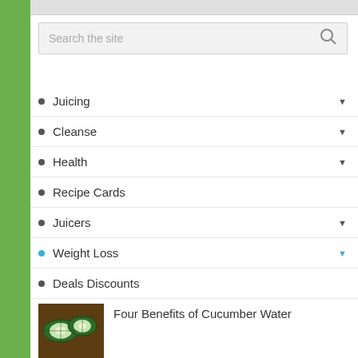Juicing
Cleanse
Health
Recipe Cards
Juicers
Weight Loss
Deals Discounts
[Figure (photo): Sliced cucumbers on a wooden surface]
Four Benefits of Cucumber Water